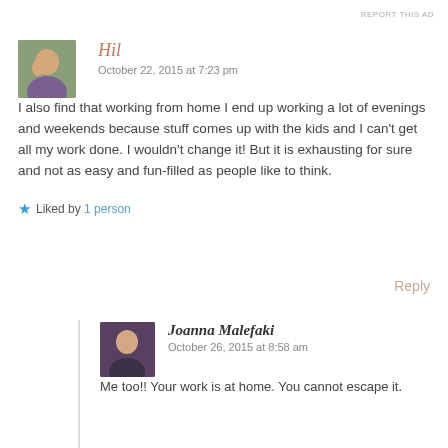REPORT THIS AD
Hil
October 22, 2015 at 7:23 pm
I also find that working from home I end up working a lot of evenings and weekends because stuff comes up with the kids and I can't get all my work done. I wouldn't change it! But it is exhausting for sure and not as easy and fun-filled as people like to think.
Liked by 1 person
Reply
Joanna Malefaki
October 26, 2015 at 8:58 am
Me too!! Your work is at home. You cannot escape it.